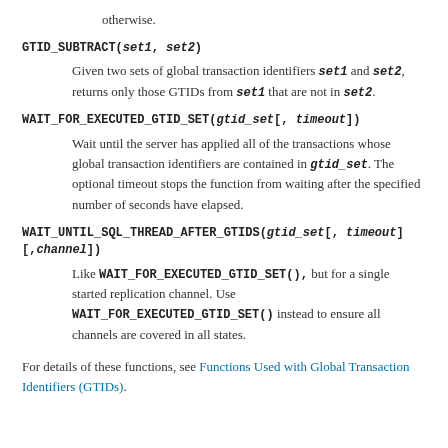otherwise.
GTID_SUBTRACT(set1, set2) — Given two sets of global transaction identifiers set1 and set2, returns only those GTIDs from set1 that are not in set2.
WAIT_FOR_EXECUTED_GTID_SET(gtid_set[, timeout]) — Wait until the server has applied all of the transactions whose global transaction identifiers are contained in gtid_set. The optional timeout stops the function from waiting after the specified number of seconds have elapsed.
WAIT_UNTIL_SQL_THREAD_AFTER_GTIDS(gtid_set[, timeout][,channel]) — Like WAIT_FOR_EXECUTED_GTID_SET(), but for a single started replication channel. Use WAIT_FOR_EXECUTED_GTID_SET() instead to ensure all channels are covered in all states.
For details of these functions, see Functions Used with Global Transaction Identifiers (GTIDs).